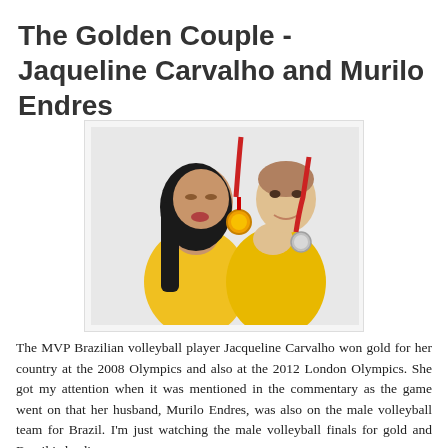The Golden Couple - Jaqueline Carvalho and Murilo Endres
[Figure (photo): Jaqueline Carvalho and Murilo Endres in yellow Brazil volleyball jerseys, posing with Olympic medals. The woman is kissing a gold medal while the man holds a silver medal and bites it playfully.]
The MVP Brazilian volleyball player Jacqueline Carvalho won gold for her country at the 2008 Olympics and also at the 2012 London Olympics. She got my attention when it was mentioned in the commentary as the game went on that her husband, Murilo Endres, was also on the male volleyball team for Brazil. I'm just watching the male volleyball finals for gold and Brazil is leading